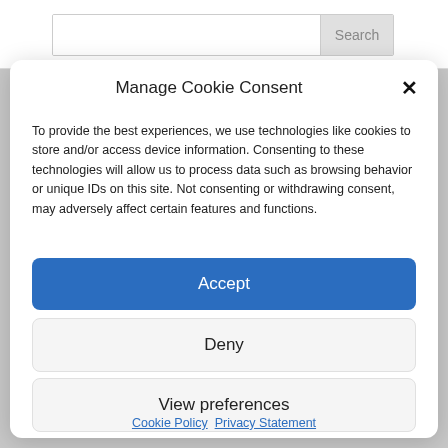Search
Manage Cookie Consent
To provide the best experiences, we use technologies like cookies to store and/or access device information. Consenting to these technologies will allow us to process data such as browsing behavior or unique IDs on this site. Not consenting or withdrawing consent, may adversely affect certain features and functions.
Accept
Deny
View preferences
Cookie Policy  Privacy Statement